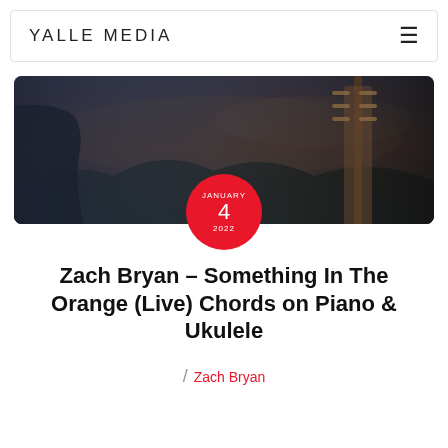YALLE MEDIA
[Figure (photo): Dark moody photo of a person in a denim jacket playing guitar outdoors at dusk with a scenic sky background]
Zach Bryan – Something In The Orange (Live) Chords on Piano & Ukulele
/ Zach Bryan